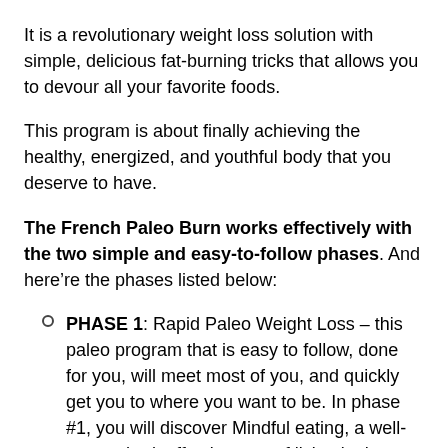It is a revolutionary weight loss solution with simple, delicious fat-burning tricks that allows you to devour all your favorite foods.
This program is about finally achieving the healthy, energized, and youthful body that you deserve to have.
The French Paleo Burn works effectively with the two simple and easy-to-follow phases. And here’re the phases listed below:
PHASE 1: Rapid Paleo Weight Loss – this paleo program that is easy to follow, done for you, will meet most of you, and quickly get you to where you want to be. In phase #1, you will discover Mindful eating, a well-researched, effective way of living in the moment and realizing what is